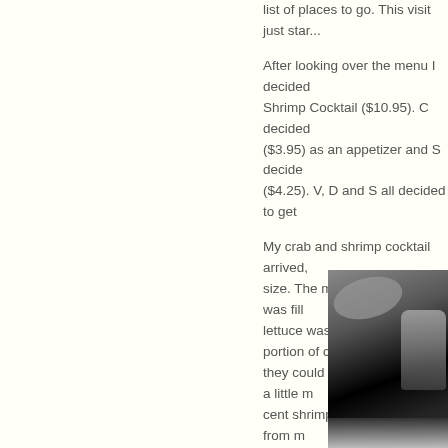list of places to go. This visit just star...
After looking over the menu I decided... Shrimp Cocktail ($10.95). C decided... ($3.95) as an appetizer and S decide... ($4.25). V, D and S all decided to get...
My crab and shrimp cocktail arrived, a... size. The majority of the glass was fill... lettuce was a very small portion of cra... they could have at least been a little m... cent shrimp cocktails in Vegas from m...
[Figure (photo): Photo of a shrimp/crab cocktail in a glass on a dark background with a plate visible]